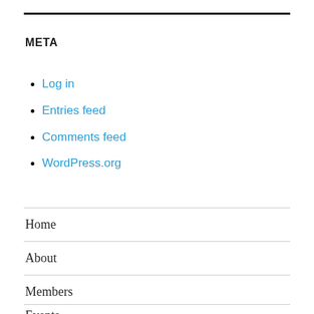META
Log in
Entries feed
Comments feed
WordPress.org
Home
About
Members
Events